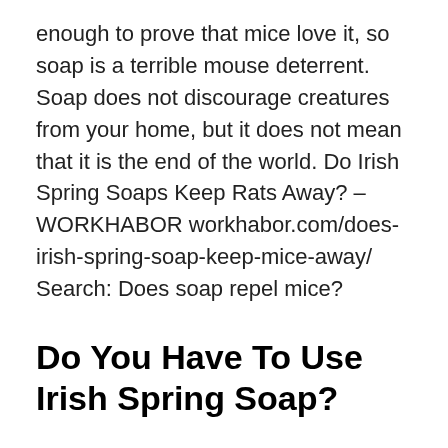enough to prove that mice love it, so soap is a terrible mouse deterrent. Soap does not discourage creatures from your home, but it does not mean that it is the end of the world. Do Irish Spring Soaps Keep Rats Away? – WORKHABOR workhabor.com/does-irish-spring-soap-keep-mice-away/ Search: Does soap repel mice?
Do You Have To Use Irish Spring Soap?
You need to use Irish spring. why? I wish I had more answers. The bottom line is that the